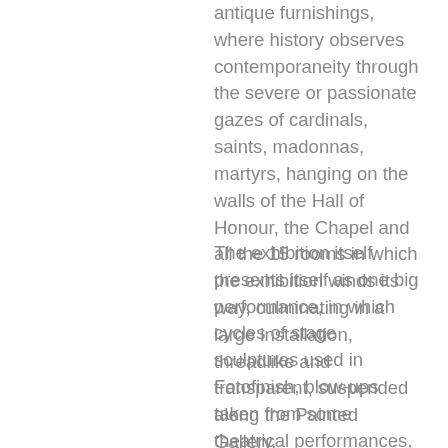antique furnishings, where history observes contemporaneity through the severe or passionate gazes of cardinals, saints, madonnas, martyrs, hanging on the walls of the Hall of Honour, the Chapel and all the 15 rooms in which the exhibition winds its way, culminating in a large installation, threadlike and transparent, suspended along the Painted Gallery.
The exhibition itself presents itself as one big performance, in which cycles of stage sculptures used in Fotofinish, blow-ups taken from some theatrical performances, books on wheels and handmade, Pictures of Light, Stage Paintings, Juggling Cards, Faces...Goths, musical instruments, fabric sculptures on